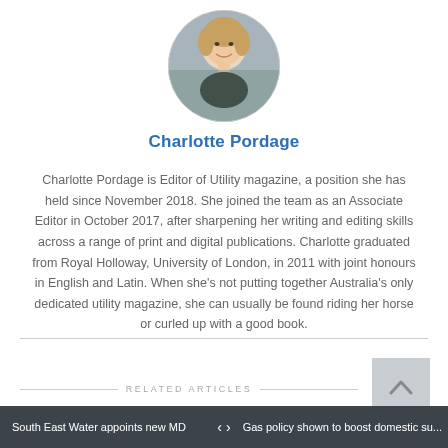[Figure (photo): Circular portrait photo of Charlotte Pordage, a smiling woman with blonde hair, against a blurred background]
Charlotte Pordage
Charlotte Pordage is Editor of Utility magazine, a position she has held since November 2018. She joined the team as an Associate Editor in October 2017, after sharpening her writing and editing skills across a range of print and digital publications. Charlotte graduated from Royal Holloway, University of London, in 2011 with joint honours in English and Latin. When she's not putting together Australia's only dedicated utility magazine, she can usually be found riding her horse or curled up with a good book.
RELATED ARTICLES
South East Water appoints new MD   <  >   Gas policy shown to boost domestic su...